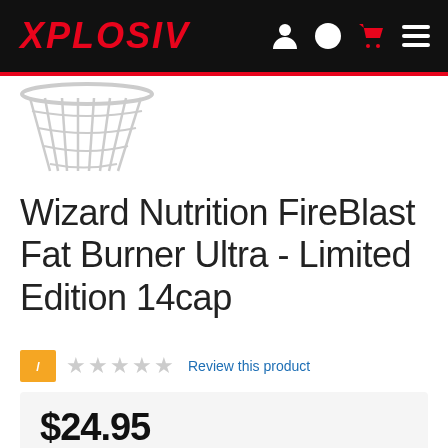XPLOSIV
[Figure (illustration): Basketball net/hoop illustration in light gray outline]
Wizard Nutrition FireBlast Fat Burner Ultra - Limited Edition 14cap
/ ★★★★★ Review this product
$24.95
Buy now, Pay later